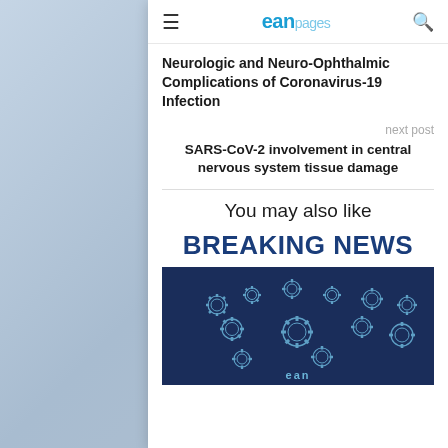eanpages
Neurologic and Neuro-Ophthalmic Complications of Coronavirus-19 Infection
next post
SARS-CoV-2 involvement in central nervous system tissue damage
You may also like
BREAKING NEWS
[Figure (illustration): Dark blue background with world map made of gear/cog shapes in light blue outline, EAN logo at bottom]